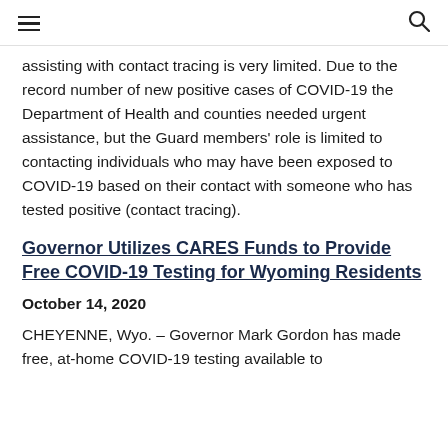≡   🔍
assisting with contact tracing is very limited. Due to the record number of new positive cases of COVID-19 the Department of Health and counties needed urgent assistance, but the Guard members' role is limited to contacting individuals who may have been exposed to COVID-19 based on their contact with someone who has tested positive (contact tracing).
Governor Utilizes CARES Funds to Provide Free COVID-19 Testing for Wyoming Residents
October 14, 2020
CHEYENNE, Wyo. – Governor Mark Gordon has made free, at-home COVID-19 testing available to